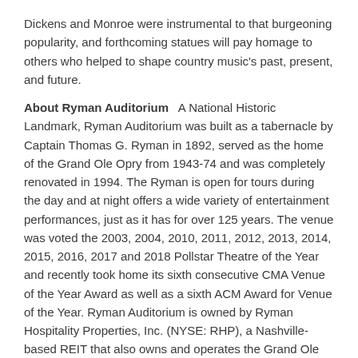Dickens and Monroe were instrumental to that burgeoning popularity, and forthcoming statues will pay homage to others who helped to shape country music's past, present, and future.
About Ryman Auditorium   A National Historic Landmark, Ryman Auditorium was built as a tabernacle by Captain Thomas G. Ryman in 1892, served as the home of the Grand Ole Opry from 1943-74 and was completely renovated in 1994. The Ryman is open for tours during the day and at night offers a wide variety of entertainment performances, just as it has for over 125 years. The venue was voted the 2003, 2004, 2010, 2011, 2012, 2013, 2014, 2015, 2016, 2017 and 2018 Pollstar Theatre of the Year and recently took home its sixth consecutive CMA Venue of the Year Award as well as a sixth ACM Award for Venue of the Year. Ryman Auditorium is owned by Ryman Hospitality Properties, Inc. (NYSE: RHP), a Nashville-based REIT that also owns and operates the Grand Ole Opry, Ole Red and 650 AM WSM. For more information, visit ryman.com.
Share this: